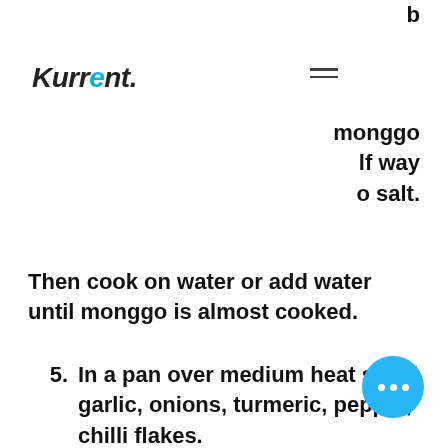Kurrent.
monggo
If way
o salt.
Then cook on water or add water until monggo is almost cooked.
5. In a pan over medium heat sauté garlic, onions, turmeric, pepper, chilli flakes.
6. Add in squash, mushrooms + its broth, option to add half of the tomatoes. Saute until squash is half cooked
7. In the pot of monggo add in the pan of sautéed vegetables. Continue boiling the stew for another 20-30 mins until desired